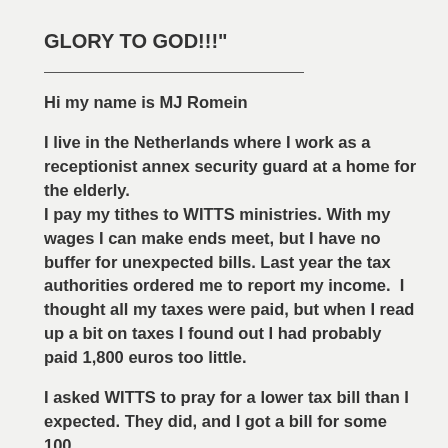GLORY TO GOD!!!"
Hi my name is MJ Romein
I live in the Netherlands where I work as a receptionist annex security guard at a home for the elderly.
I pay my tithes to WITTS ministries. With my wages I can make ends meet, but I have no buffer for unexpected bills. Last year the tax authorities ordered me to report my income.  I thought all my taxes were paid, but when I read up a bit on taxes I found out I had probably paid 1,800 euros too little.
I asked WITTS to pray for a lower tax bill than I expected. They did, and I got a bill for some 100